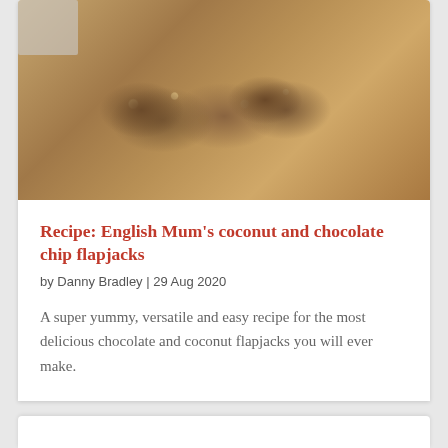[Figure (photo): Photo of coconut and chocolate chip flapjack bars on a wooden surface, with a gray/silver object visible in the top-left corner]
Recipe: English Mum's coconut and chocolate chip flapjacks
by Danny Bradley | 29 Aug 2020
A super yummy, versatile and easy recipe for the most delicious chocolate and coconut flapjacks you will ever make.